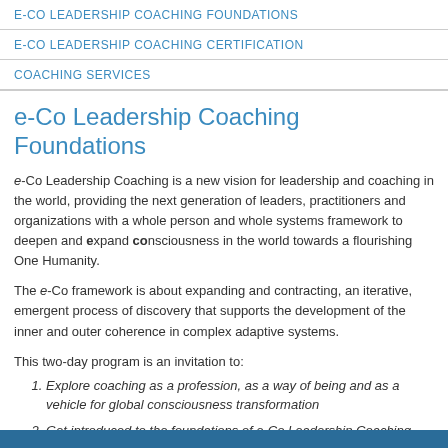E-CO LEADERSHIP COACHING FOUNDATIONS
E-CO LEADERSHIP COACHING CERTIFICATION
COACHING SERVICES
e-Co Leadership Coaching Foundations
e-Co Leadership Coaching is a new vision for leadership and coaching in the world, providing the next generation of leaders, practitioners and organizations with a whole person and whole systems framework to deepen and expand consciousness in the world towards a flourishing One Humanity.
The e-Co framework is about expanding and contracting, an iterative, emergent process of discovery that supports the development of the inner and outer coherence in complex adaptive systems.
This two-day program is an invitation to:
Explore coaching as a profession, as a way of being and as a vehicle for global consciousness transformation
Get introduced to the foundations of e-Co Leadership Coaching and practice using a simple model for your work and life
Connect and step into the capacities of e-Co Leadership Coaching to start